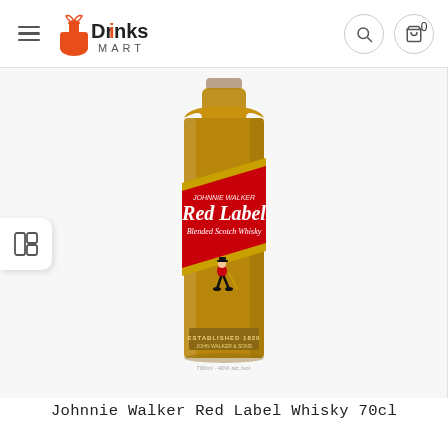Drinks Mart — navigation bar with hamburger menu, logo, search and cart icons
[Figure (photo): Bottle of Johnnie Walker Red Label Blended Scotch Whisky 70cl on white background]
Johnnie Walker Red Label Whisky 70cl